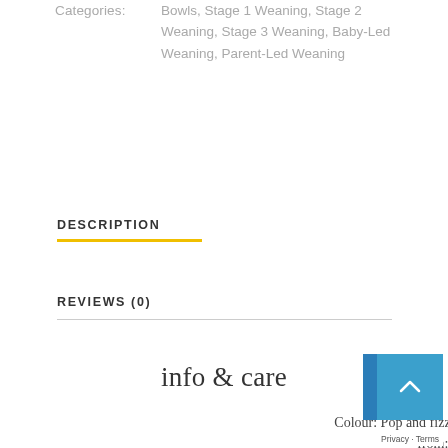Categories: Bowls, Stage 1 Weaning, Stage 2 Weaning, Stage 3 Weaning, Baby-Led Weaning, Parent-Led Weaning
DESCRIPTION
REVIEWS (0)
info & care
Colour: Pop and fizz. Capacity: Suitable from: 4m+